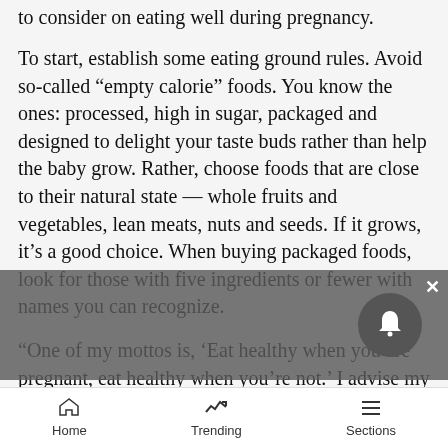to consider on eating well during pregnancy.
To start, establish some eating ground rules. Avoid so-called “empty calorie” foods. You know the ones: processed, high in sugar, packaged and designed to delight your taste buds rather than help the baby grow. Rather, choose foods that are close to their natural state — whole fruits and vegetables, lean meats, nuts and seeds. If it grows, it’s a good choice. When buying packaged foods, look for those with five ingredients or fewer with names you can recognize.
“One of my mottos is, ‘Eat healthy when you are pregnant, eat healthy when you’re not.’ I advise my pregnant patients to eat a lot of fruits and vegetables and to get a well-rounded diet of protein, carbohydrates and fats. Anything fresh is by far better than anything processed or frozen. And as always
Home   Trending   Sections